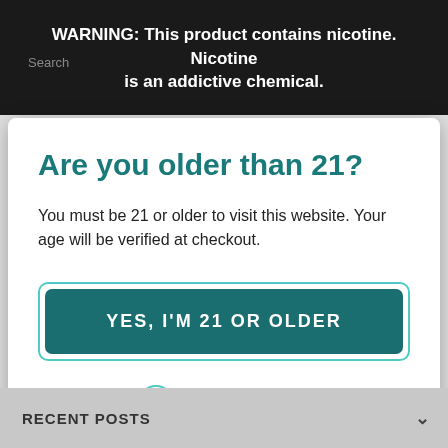WARNING: This product contains nicotine. Nicotine is an addictive chemical.
Are you older than 21?
You must be 21 or older to visit this website. Your age will be verified at checkout.
YES, I'M 21 OR OLDER
[Figure (logo): AgeChecker.Net logo with teal checkmark icon]
RECENT POSTS